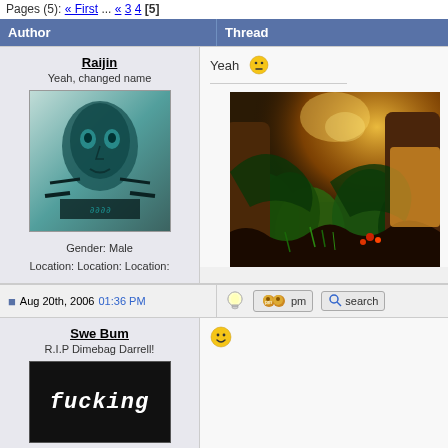Pages (5): « First ... « 3 4 [5]
| Author | Thread |
| --- | --- |
| Raijin
Yeah, changed name
[avatar]
Gender: Male
Location: Location: Location: | Yeah 😐
[horizontal rule]
[forest image] |
| [post icon] Aug 20th, 2006 01:36 PM | [lightbulb] [pm] [search] |
| Swe Bum
R.I.P Dimebag Darrell!
[avatar: fucking] | [smile emoji] |